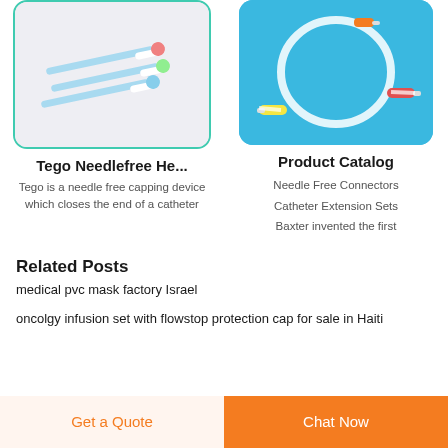[Figure (photo): Medical needles/IV catheters with colorful caps on light gray background, inside a teal-bordered rounded rectangle card]
[Figure (photo): IV catheter extension set with colorful connectors on blue background, inside a rounded rectangle card]
Tego Needlefree He...
Tego is a needle free capping device which closes the end of a catheter
Product Catalog
Needle Free Connectors
Catheter Extension Sets
Baxter invented the first
Related Posts
medical pvc mask factory Israel
oncolgy infusion set with flowstop protection cap for sale in Haiti
Get a Quote   Chat Now